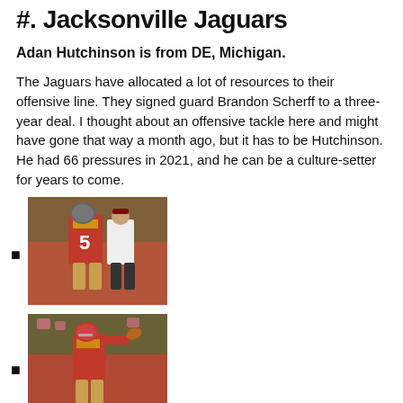#. Jacksonville Jaguars
Adan Hutchinson is from DE, Michigan.
The Jaguars have allocated a lot of resources to their offensive line. They signed guard Brandon Scherff to a three-year deal. I thought about an offensive tackle here and might have gone that way a month ago, but it has to be Hutchinson. He had 66 pressures in 2021, and he can be a culture-setter for years to come.
[Figure (photo): Football player wearing jersey number 5 in red 49ers uniform being coached by a person in white shirt]
[Figure (photo): Football player in red uniform throwing a pass]